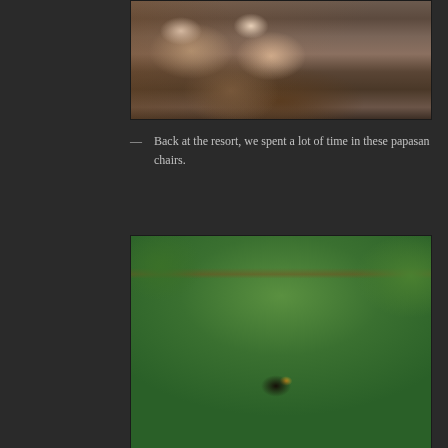[Figure (photo): Photo of people sitting in papasan wicker chairs, viewed from above, with brown cushions visible]
— Back at the resort, we spent a lot of time in these papasan chairs.
[Figure (photo): Photo of a black myna bird with yellow beak markings perched on a wooden railing with rope, tropical green palm trees in background, white lounge chairs visible]